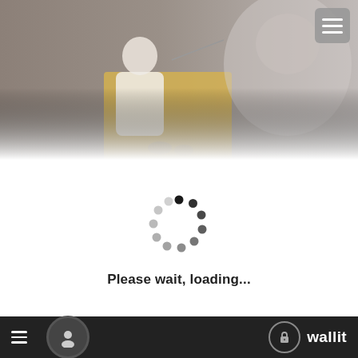[Figure (photo): A woman in a white jacket speaking at a podium with a microphone at what appears to be a conference or event. A large black-and-white portrait of a person is visible in the background. The image fades to white at the bottom.]
[Figure (screenshot): Loading spinner — a circle of dots (dark filled circles arranged in a circular loading indicator pattern)]
Please wait, loading...
wallit